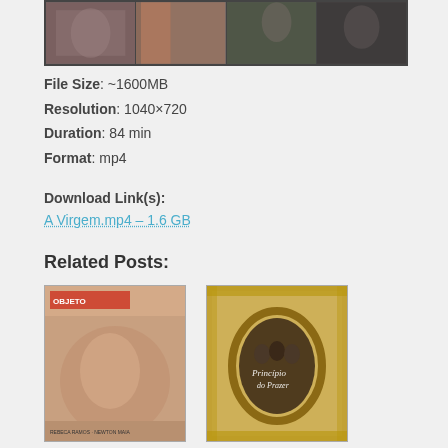[Figure (photo): Film strip with four movie scene thumbnails at the top of the page]
File Size: ~1600MB
Resolution: 1040×720
Duration: 84 min
Format: mp4
Download Link(s):
A Virgem.mp4 – 1.6 GB
Related Posts:
[Figure (photo): Movie poster thumbnail 1 - appears to be a film with a woman (Objeto)]
[Figure (photo): Movie poster thumbnail 2 - appears to be a period film with group of people in oval frame (Principio do Prazer)]